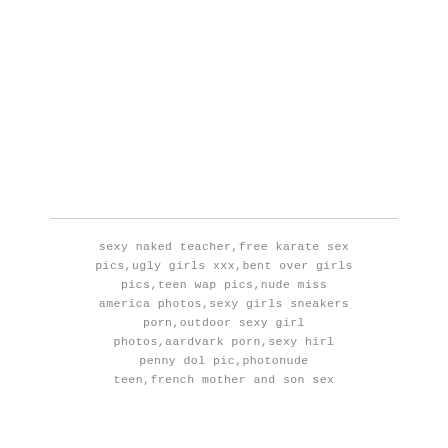sexy naked teacher,free karate sex pics,ugly girls xxx,bent over girls pics,teen wap pics,nude miss america photos,sexy girls sneakers porn,outdoor sexy girl photos,aardvark porn,sexy hirl penny dol pic,photonude teen,french mother and son sex